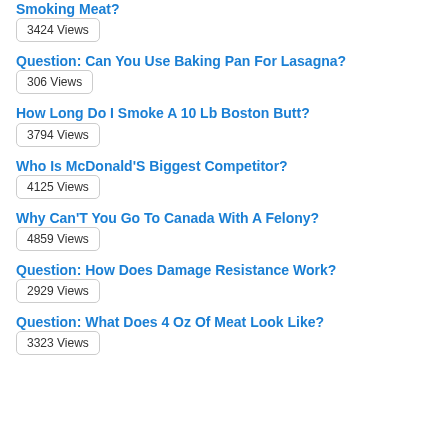Smoking Meat?
3424 Views
Question: Can You Use Baking Pan For Lasagna?
306 Views
How Long Do I Smoke A 10 Lb Boston Butt?
3794 Views
Who Is McDonald'S Biggest Competitor?
4125 Views
Why Can'T You Go To Canada With A Felony?
4859 Views
Question: How Does Damage Resistance Work?
2929 Views
Question: What Does 4 Oz Of Meat Look Like?
3323 Views